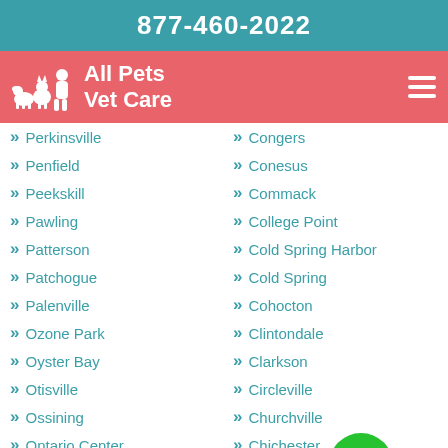877-460-2022
[Figure (logo): All Pets Vet Care logo with white silhouettes of pets and person on red/pink background]
Perkinsville
Penfield
Peekskill
Pawling
Patterson
Patchogue
Palenville
Ozone Park
Oyster Bay
Otisville
Ossining
Ontario Center
Ontario
Congers
Conesus
Commack
College Point
Cold Spring Harbor
Cold Spring
Cohocton
Clintondale
Clarkson
Circleville
Churchville
Chichester
Chelsea